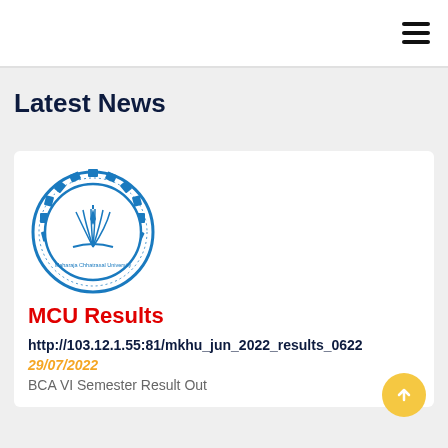≡ (hamburger menu icon)
Latest News
[Figure (logo): MCU (Maharaja Chhatrasal University) circular logo with blue gear/chain border, open book with pen nib in center, text around border]
MCU Results
http://103.12.1.55:81/mkhu_jun_2022_results_0622
29/07/2022
BCA VI Semester Result Out